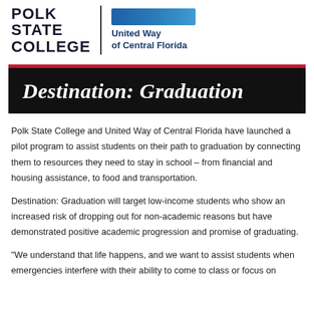[Figure (logo): Polk State College logo (wordmark) and United Way of Central Florida logo side by side with vertical divider]
Destination: Graduation
Polk State College and United Way of Central Florida have launched a pilot program to assist students on their path to graduation by connecting them to resources they need to stay in school – from financial and housing assistance, to food and transportation.
Destination: Graduation will target low-income students who show an increased risk of dropping out for non-academic reasons but have demonstrated positive academic progression and promise of graduating.
“We understand that life happens, and we want to assist students when emergencies interfere with their ability to come to class or focus on